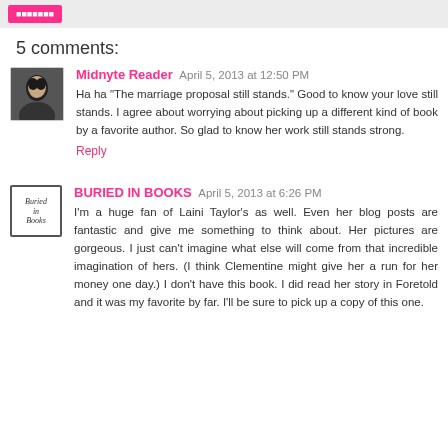5 comments:
Midnyte Reader  April 5, 2013 at 12:50 PM
Ha ha "The marriage proposal still stands." Good to know your love still stands. I agree about worrying about picking up a different kind of book by a favorite author. So glad to know her work still stands strong.
Reply
BURIED IN BOOKS  April 5, 2013 at 6:26 PM
I'm a huge fan of Laini Taylor's as well. Even her blog posts are fantastic and give me something to think about. Her pictures are gorgeous. I just can't imagine what else will come from that incredible imagination of hers. (I think Clementine might give her a run for her money one day.) I don't have this book. I did read her story in Foretold and it was my favorite by far. I'll be sure to pick up a copy of this one.